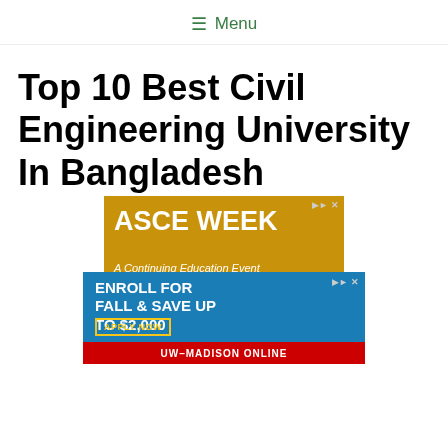≡ Menu
Top 10 Best Civil Engineering University In Bangladesh
[Figure (screenshot): Advertisement for ASCE WEEK - A Continuing Education Event, showing golden/amber background with white bold text 'ASCE WEEK', subtitle 'A Continuing Education Event', and 'September' text at the bottom with a graphic element]
[Figure (screenshot): Advertisement for UW-Madison Online: 'ENROLL FOR FALL & SAVE UP TO $2,000' with 'APPLY NOW' button in yellow border, on blue background with red footer bar reading 'UW-MADISON ONLINE']